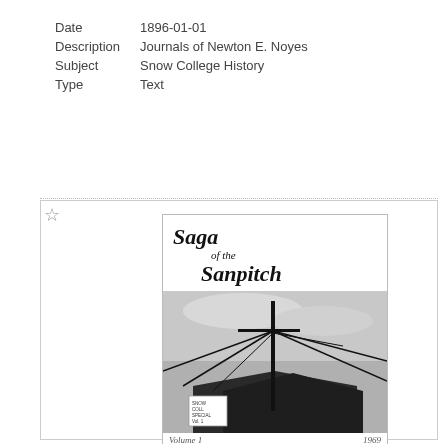| Date | 1896-01-01 |
| Description | Journals of Newton E. Noyes |
| Subject | Snow College History |
| Type | Text |
[Figure (photo): Book cover of 'Saga of the Sanpitch', showing a black and white photograph of a utility pole and wires over a barn/building roof, with text 'Volume 1' and '1969' at the bottom.]